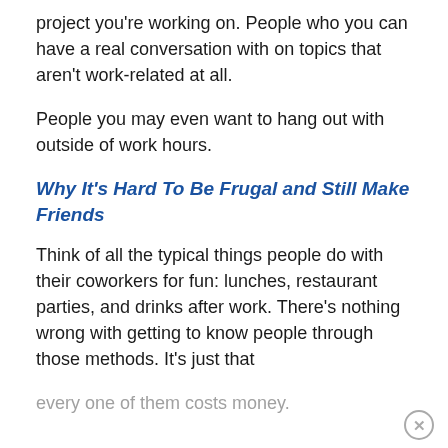project you're working on. People who you can have a real conversation with on topics that aren't work-related at all.
People you may even want to hang out with outside of work hours.
Why It's Hard To Be Frugal and Still Make Friends
Think of all the typical things people do with their coworkers for fun: lunches, restaurant parties, and drinks after work. There's nothing wrong with getting to know people through those methods. It's just that
every one of them costs money.